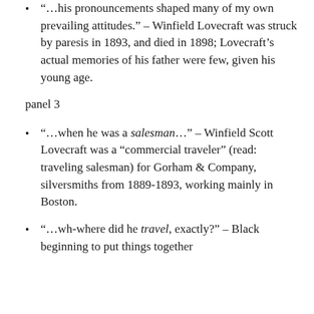“…his pronouncements shaped many of my own prevailing attitudes.” – Winfield Lovecraft was struck by paresis in 1893, and died in 1898; Lovecraft’s actual memories of his father were few, given his young age.
panel 3
“…when he was a salesman…” – Winfield Scott Lovecraft was a “commercial traveler” (read: traveling salesman) for Gorham & Company, silversmiths from 1889-1893, working mainly in Boston.
“…wh-where did he travel, exactly?” – Black beginning to put things together